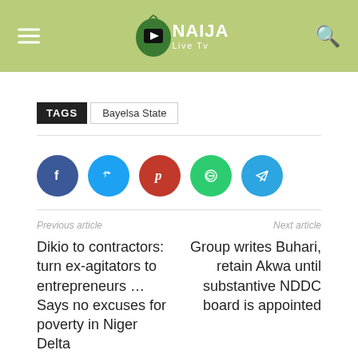Naija Live Tv
TAGS  Bayelsa State
[Figure (infographic): Social media share buttons: Facebook (dark blue), Twitter (light blue), Pinterest (red), WhatsApp (green), Telegram (blue)]
Previous article
Next article
Dikio to contractors: turn ex-agitators to entrepreneurs … Says no excuses for poverty in Niger Delta
Group writes Buhari, retain Akwa until substantive NDDC board is appointed